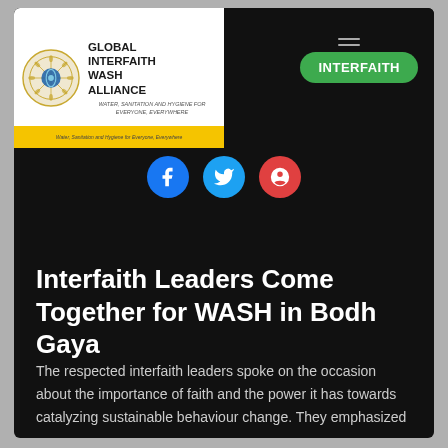[Figure (logo): Global Interfaith WASH Alliance logo with circular emblem and organization name]
INTERFAITH
[Figure (infographic): Social media share icons: Facebook (blue), Twitter (light blue), Google+ (red)]
Interfaith Leaders Come Together for WASH in Bodh Gaya
The respected interfaith leaders spoke on the occasion about the importance of faith and the power it has towards catalyzing sustainable behaviour change. They emphasized